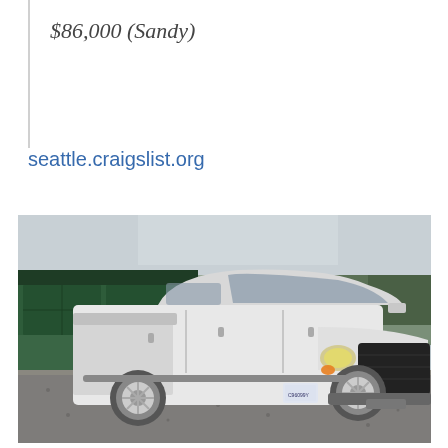$86,000 (Sandy)
seattle.craigslist.org
[Figure (photo): White Dodge Ram pickup truck parked on gravel driveway in front of a dark green metal garage building with trees/brush in background. Washington state license plate visible.]